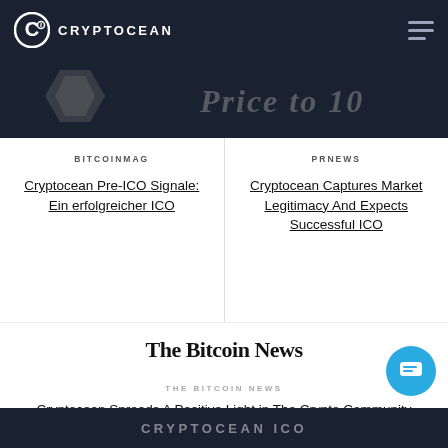CRYPTOCEAN
[Figure (screenshot): Partial banner image showing a hexagonal logo and italic text reading 'Price to 10' or similar, on a dark background]
BITCOINMAG
Cryptocean Pre-ICO Signale: Ein erfolgreicher ICO
PRNEWS
Cryptocean Captures Market Legitimacy And Expects Successful ICO
[Figure (logo): The Bitcoin News logo in bold serif font]
THE BITCOIN NEWS
Cryptocean Spreads A Positive Light in The Crypto Community
CRYPTOCEAN ICO